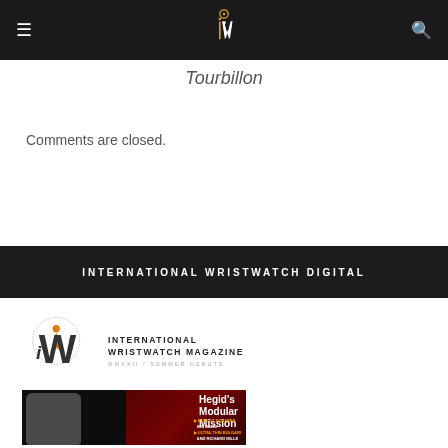iW International Wristwatch [navigation header]
Tourbillon
Comments are closed.
INTERNATIONAL WRISTWATCH DIGITAL
[Figure (logo): International Wristwatch Magazine logo with iW mark and text: INTERNATIONAL WRISTWATCH MAGAZINE MMXXII / SUMMER DEBUTS]
[Figure (photo): Magazine cover showing a watch with brown strap, red smoky background, headline Hegid's Modular Mission, subheadings HUBLOT SQUARES BIG BANG and ULTRA-THIN BULGARI AND RICHARD MILLE]